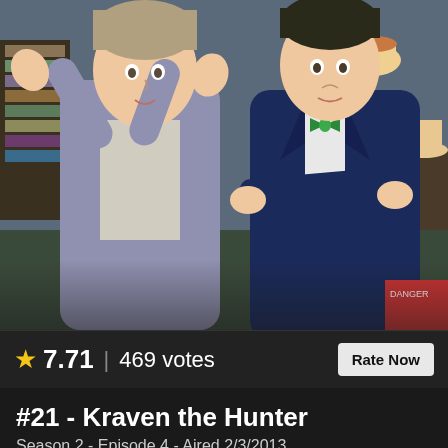[Figure (illustration): Anime scene showing two characters: one in a light purple/grey hoodie with hands raised, another in a dark navy suit with arms crossed and green bow tie. Indoor setting with bookshelves, a lamp in the background.]
★ 7.71 | 469 votes
Rate Now
#21 - Kraven the Hunter
Season 2 - Episode 4 - Aired 2/3/2013
White Tiger comes to terms with her powers and origin, while she is hunted by a villain from her past.
Directors: Roy Burdine
Watch Now: Amazon